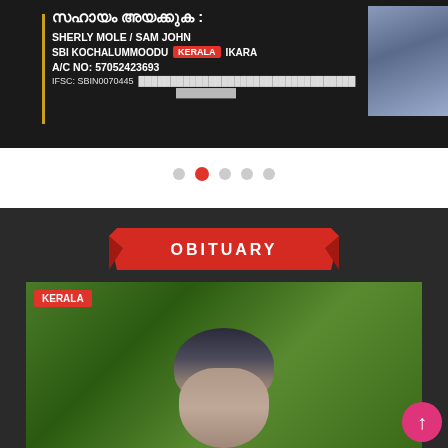[Figure (screenshot): Dark-background donation/charity banner with Malayalam text title, names SHERLY MOLE / SAM JOHN, SBI KOCHALUMMOODU bank details, KERALA badge, A/C NO: 57052423693, IFSC: SBIN0070445, and Malayalam text. Person photo on right.]
[Figure (infographic): Carousel dot navigation: 5 dots, second dot is active/red]
[Figure (screenshot): Dark obituary section with red ribbon banner reading OBITUARY, KERALA badge overlay, and photo of person with green leafy background]